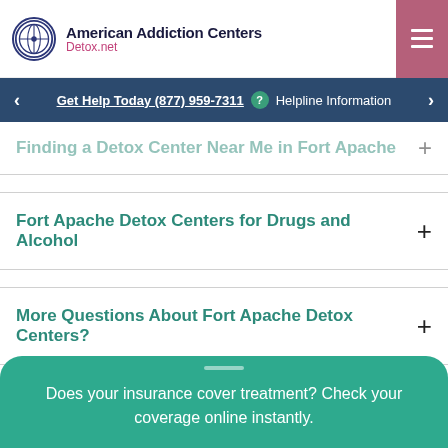American Addiction Centers Detox.net
Get Help Today (877) 959-7311 ? Helpline Information
Finding a Detox Center Near Me in Fort Apache
Fort Apache Detox Centers for Drugs and Alcohol
More Questions About Fort Apache Detox Centers?
Want to get help, but not ready
Does your insurance cover treatment? Check your coverage online instantly.